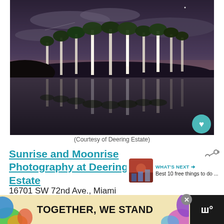[Figure (photo): Night/twilight photo of palm trees reflected in a still lake at Deering Estate. Dark sky with clouds and a star visible. Palm trees illuminated from below, their reflections perfectly mirrored in calm water.]
(Courtesy of Deering Estate)
Sunrise and Moonrise Photography at Deering Estate
16701 SW 72nd Ave., Miami
Select dates: 6-8 a.m. and 7-9 p.m.
[Figure (photo): WHAT'S NEXT thumbnail with people photo and text: Best 10 free things to do ...]
[Figure (infographic): Ad banner reading TOGETHER, WE STAND with colorful blobs on sides]
[Figure (other): Weather icon showing temperature in Celsius]